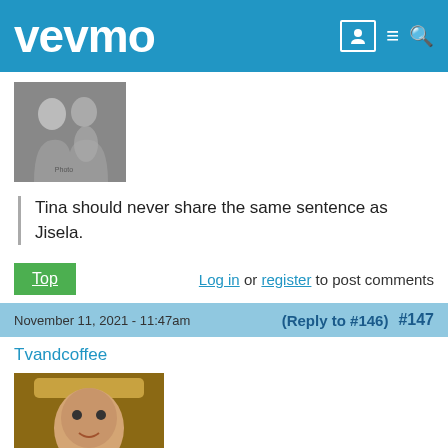vevmo
[Figure (photo): Black and white photo of two women, one appearing pregnant]
Tina should never share the same sentence as Jisela.
Top | Log in or register to post comments
November 11, 2021 - 11:47am (Reply to #146) #147
Tvandcoffee
[Figure (photo): Photo of a man in medieval/royal costume pointing at viewer]